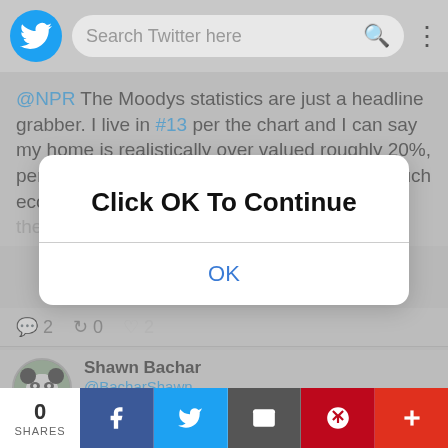[Figure (screenshot): Twitter mobile app header with logo, search bar, and menu dots]
@NPR The Moodys statistics are just a headline grabber. I live in #13 per the chart and I can say my home is realistically over valued roughly 20%, per Zillow, not 48% per Moodys. There's so much economic data that's not even considered that these numbers might as well come from
2  0  2
[Figure (screenshot): Modal dialog with 'Click OK To Continue' message and an OK button]
Shawn Bachar @BacharShawn 3 months ago
@NPR a dart board. Locally, our prices have increased due
0 SHARES